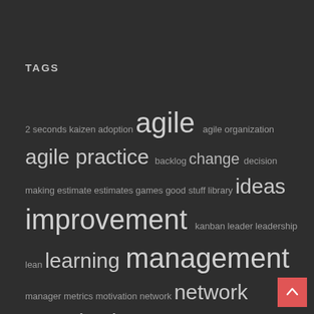TAGS
2 seconds kaizen adoption agile agile organization agile practice backlog change decision making estimate estimates games good stuff library ideas improvement kanban leader leadership lean learning management manager metrics motivation network network organization notes organisation people PMP practice principles problem process product product owner project scope questions requirements retrospective scrum scr…